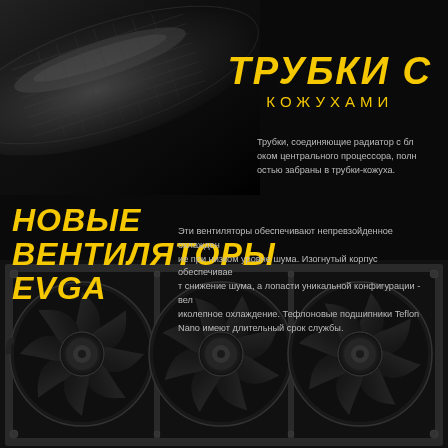[Figure (photo): Close-up of a braided black cable/tube on dark background, top-left area]
ТРУБКИ С КОЖУХАМИ
Трубки, соединяющие радиатор с блоком центрального процессора, полностью забраны в трубки-кожуха.
НОВЫЕ ВЕНТИЛЯТОРЫ EVGA
Эти вентиляторы обеспечивают непревзойденное охлаждение при низком уровне шума. Изогнутый корпус обеспечивает снижение шума, а лопасти уникальной конфигурации - великолепное охлаждение. Тефлоновые подшипники Teflon Nano имеют длительный срок службы.
[Figure (photo): Three EVGA 120mm fans mounted on a radiator, viewed from the front, on black background]